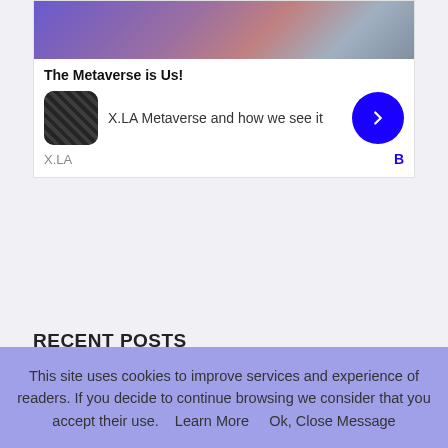[Figure (screenshot): Advertisement box showing 'The Metaverse is Us!' with an image at top, X.LA logo icon, text 'X.LA Metaverse and how we see it', a blue circular arrow button, and 'X.LA' source label with 'B' badge]
RECENT POSTS
Why Low Blockchain Fees is crucial for IoT Adoption
Get Yours Hamster Now And Play The Amazing Hamster Jamz Game For Free!
Limau DAO Launches Investment Ecosystem Powered by NFTs
Launch of Finexia Crypto Collective
This site uses cookies to improve services and experience of readers. If you decide to continue browsing we consider that you accept their use.    Learn More      Ok, Close Message